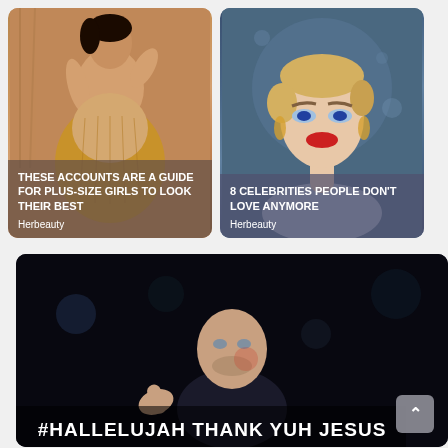[Figure (photo): Ad card showing a plus-size woman in a gold dress with text overlay: THESE ACCOUNTS ARE A GUIDE FOR PLUS-SIZE GIRLS TO LOOK THEIR BEST, source: Herbeauty]
[Figure (photo): Ad card showing a female celebrity (Katy Perry) with text overlay: 8 CELEBRITIES PEOPLE DON'T LOVE ANYMORE, source: Herbeauty]
[Figure (photo): Meme image showing a man in a dark setting with text: #HALLELUJAH THANK YUH JESUS]